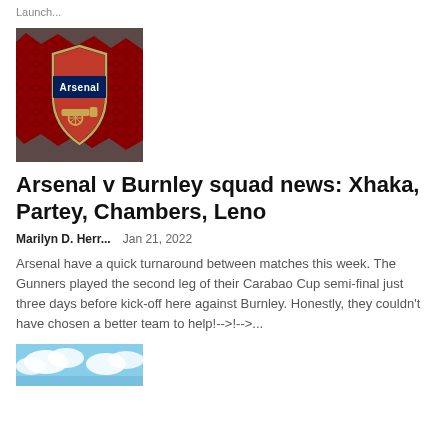Launch...
[Figure (photo): Arsenal Football Club crest/badge on a red honeycomb metallic background]
Arsenal v Burnley squad news: Xhaka, Partey, Chambers, Leno
Marilyn D. Herr...    Jan 21, 2022
Arsenal have a quick turnaround between matches this week. The Gunners played the second leg of their Carabao Cup semi-final just three days before kick-off here against Burnley. Honestly, they couldn't have chosen a better team to help!-->!-->...
[Figure (photo): Partial image at bottom, appears to show a sky with clouds]